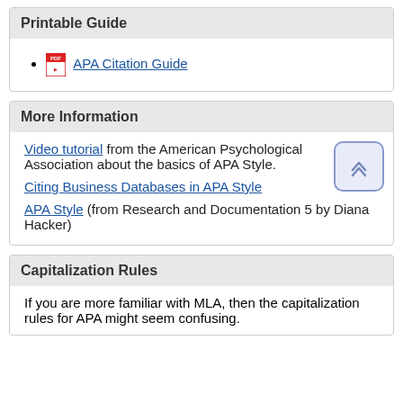Printable Guide
APA Citation Guide
More Information
Video tutorial  from the American Psychological Association about the basics of APA Style.
Citing Business Databases in APA Style
APA Style (from Research and Documentation 5 by Diana Hacker)
Capitalization Rules
If you are more familiar with MLA, then the capitalization rules for APA might seem confusing.